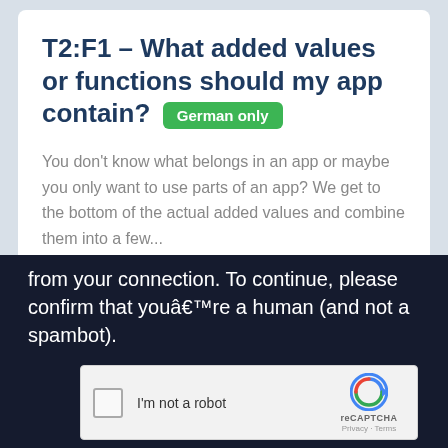T2:F1 – What added values or functions should my app contain? German only
You don't know what belongs in an app or maybe you only want to use parts of an app? We get to the bottom of the actual added values and combine them into a few...
from your connection. To continue, please confirm that youâ€™re a human (and not a spambot).
[Figure (screenshot): reCAPTCHA widget with checkbox labeled 'I'm not a robot' and reCAPTCHA logo with Privacy and Terms links]